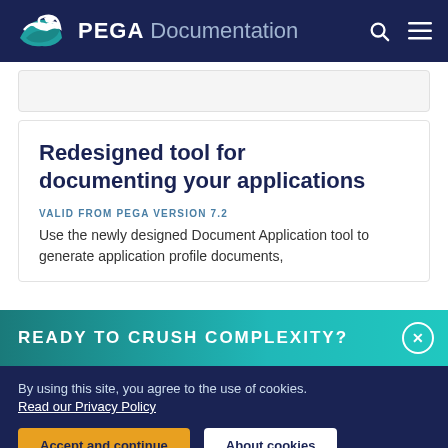PEGA Documentation
Redesigned tool for documenting your applications
VALID FROM PEGA VERSION 7.2
Use the newly designed Document Application tool to generate application profile documents,
READY TO CRUSH COMPLEXITY?
By using this site, you agree to the use of cookies. Read our Privacy Policy
Accept and continue
About cookies